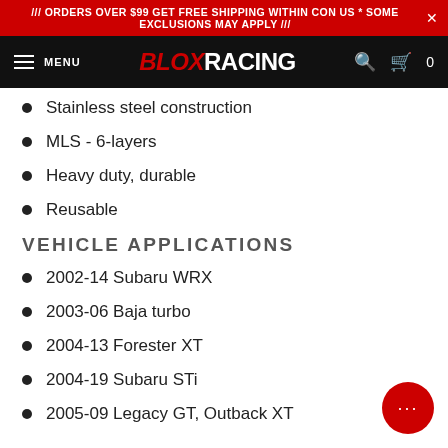/// ORDERS OVER $99 GET FREE SHIPPING WITHIN CON US * SOME EXCLUSIONS MAY APPLY ///
BLOXRACING MENU
Stainless steel construction
MLS - 6-layers
Heavy duty, durable
Reusable
VEHICLE APPLICATIONS
2002-14 Subaru WRX
2003-06 Baja turbo
2004-13 Forester XT
2004-19 Subaru STi
2005-09 Legacy GT, Outback XT